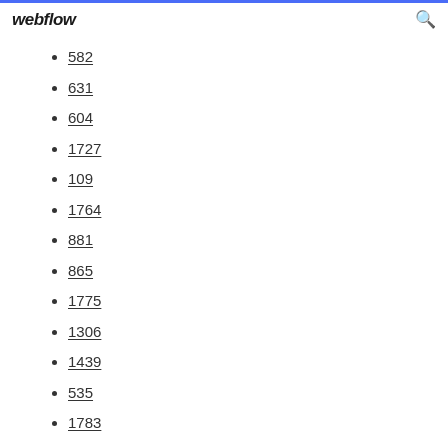webflow
582
631
604
1727
109
1764
881
865
1775
1306
1439
535
1783